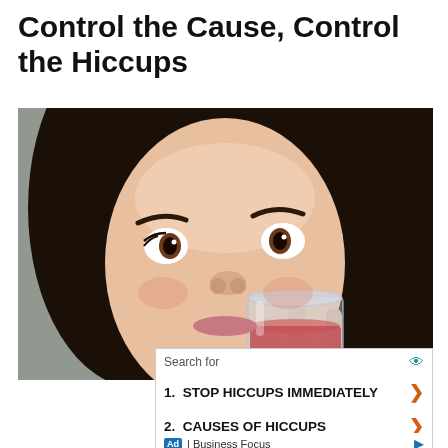Control the Cause, Control the Hiccups
[Figure (photo): Woman with wide eyes drinking from a glass of red liquid, looking surprised]
Search for
1.  STOP HICCUPS IMMEDIATELY
2.  CAUSES OF HICCUPS
Ad | Business Focus